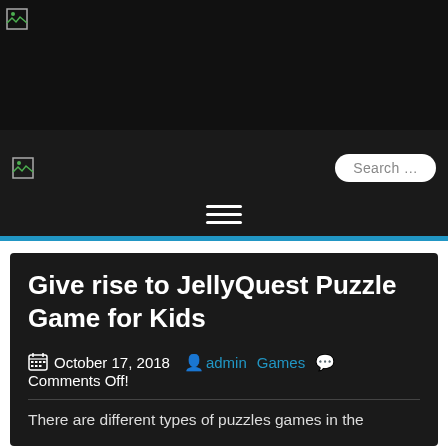[Figure (screenshot): Website header with dark background, broken image icon top-left, navigation bar with logo and search box, and hamburger menu icon]
Give rise to JellyQuest Puzzle Game for Kids
October 17, 2018  admin  Games  Comments Off!
There are different types of puzzles games in the